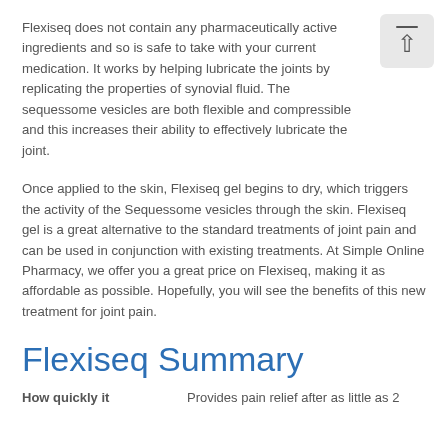Flexiseq does not contain any pharmaceutically active ingredients and so is safe to take with your current medication. It works by helping lubricate the joints by replicating the properties of synovial fluid. The sequessome vesicles are both flexible and compressible and this increases their ability to effectively lubricate the joint.
[Figure (other): A rounded rectangle button with a horizontal line above an upward-pointing arrow, indicating a scroll-to-top action.]
Once applied to the skin, Flexiseq gel begins to dry, which triggers the activity of the Sequessome vesicles through the skin. Flexiseq gel is a great alternative to the standard treatments of joint pain and can be used in conjunction with existing treatments. At Simple Online Pharmacy, we offer you a great price on Flexiseq, making it as affordable as possible. Hopefully, you will see the benefits of this new treatment for joint pain.
Flexiseq Summary
How quickly it

Provides pain relief after as little as 2
days